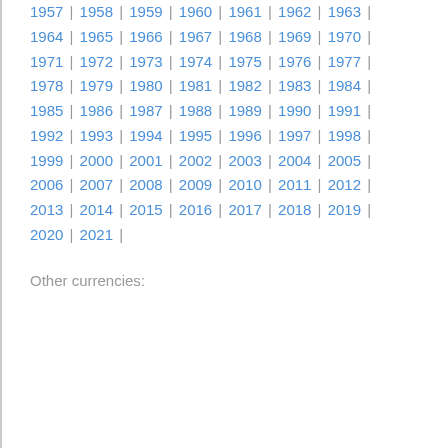1957 | 1958 | 1959 | 1960 | 1961 | 1962 | 1963 | 1964 | 1965 | 1966 | 1967 | 1968 | 1969 | 1970 | 1971 | 1972 | 1973 | 1974 | 1975 | 1976 | 1977 | 1978 | 1979 | 1980 | 1981 | 1982 | 1983 | 1984 | 1985 | 1986 | 1987 | 1988 | 1989 | 1990 | 1991 | 1992 | 1993 | 1994 | 1995 | 1996 | 1997 | 1998 | 1999 | 2000 | 2001 | 2002 | 2003 | 2004 | 2005 | 2006 | 2007 | 2008 | 2009 | 2010 | 2011 | 2012 | 2013 | 2014 | 2015 | 2016 | 2017 | 2018 | 2019 | 2020 | 2021 |
Other currencies: